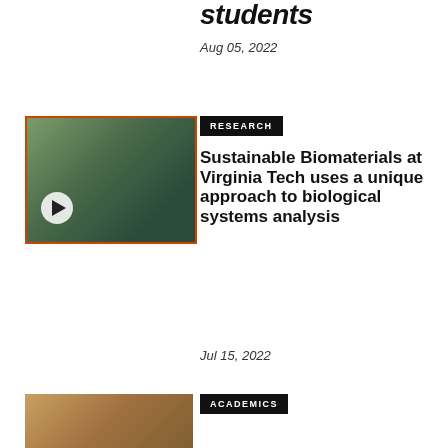Students
Aug 05, 2022
[Figure (photo): Group of researchers in protective gear outdoors with a video play button overlay]
RESEARCH
Sustainable Biomaterials at Virginia Tech uses a unique approach to biological systems analysis
Jul 15, 2022
[Figure (photo): Student studying in a classroom setting]
ACADEMICS